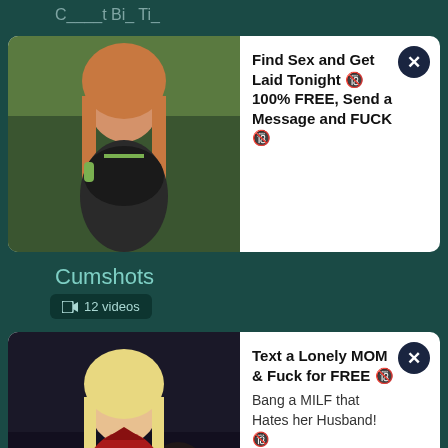[Figure (screenshot): Thumbnail image of a woman with long hair in a green background for ad]
Find Sex and Get Laid Tonight 🔞 100% FREE, Send a Message and FUCK 🔞
Cumshots
📹 12 videos
[Figure (screenshot): Thumbnail image of a blonde woman in red dress]
Text a Lonely MOM & Fuck for FREE 🔞 Bang a MILF that Hates her Husband! 🔞
📹 12 videos
Dad
📹 12 videos
Daddy
📹 18 videos